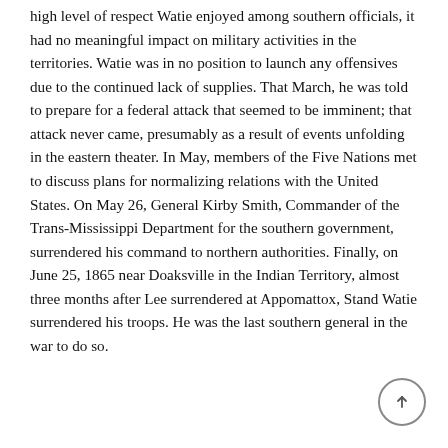high level of respect Watie enjoyed among southern officials, it had no meaningful impact on military activities in the territories. Watie was in no position to launch any offensives due to the continued lack of supplies. That March, he was told to prepare for a federal attack that seemed to be imminent; that attack never came, presumably as a result of events unfolding in the eastern theater. In May, members of the Five Nations met to discuss plans for normalizing relations with the United States. On May 26, General Kirby Smith, Commander of the Trans-Mississippi Department for the southern government, surrendered his command to northern authorities. Finally, on June 25, 1865 near Doaksville in the Indian Territory, almost three months after Lee surrendered at Appomattox, Stand Watie surrendered his troops. He was the last southern general in the war to do so.